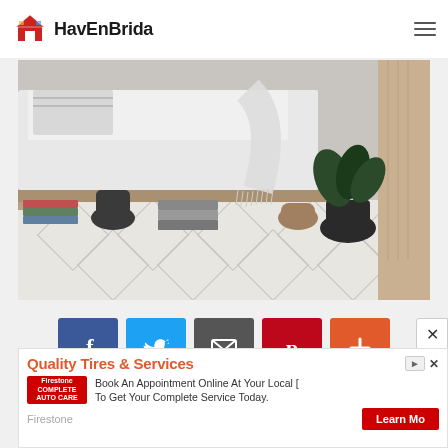HavEnBrida
[Figure (photo): Bedroom scene with a wooden bed frame, white bedding, fringed blanket draped over the bed, books and woven baskets stored underneath, a black vase with a plant on a patterned black and white rug]
[Figure (infographic): Social sharing buttons row: Facebook (blue), Twitter (light blue), Email (dark grey), Pinterest (red), Plus/More (orange-red)]
[Figure (screenshot): Advertisement banner for Firestone Quality Tires & Services. Text: Quality Tires & Services. Book An Appointment Online At Your Local [store] To Get Your Complete Service Today. Firestone logo. Learn More button.]